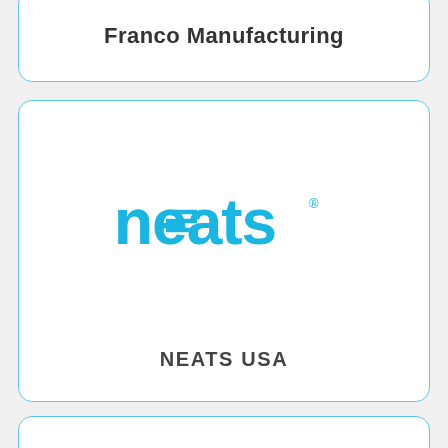Franco Manufacturing
[Figure (logo): Neats logo in cyan/blue color with stylized letter forms]
NEATS USA